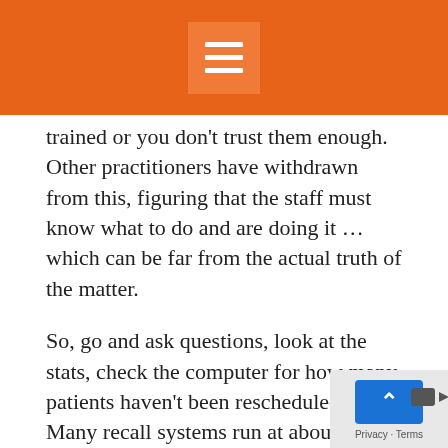trained or you don't trust them enough.  Other practitioners have withdrawn from this, figuring that the staff must know what to do and are doing it … which can be far from the actual truth of the matter.
So, go and ask questions, look at the stats, check the computer for how many patients haven't been rescheduled, etc.  Many recall systems run at about 60% efficiency levels which means a lot of missed ideal service to the patients (nevermind the amount of lost income).  Look for yourself, don't listen to explanations.